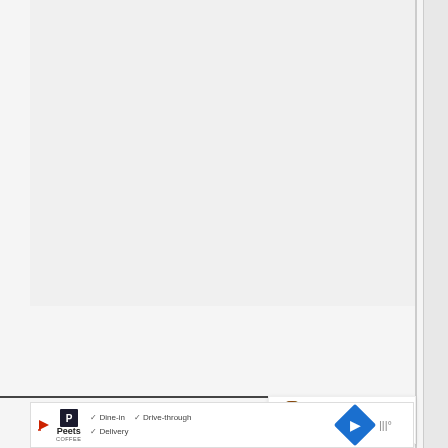[Figure (photo): Large image area (screenshot of a recipe page) — upper portion showing a mostly light gray/white image area]
[Figure (infographic): Heart/like button (dark circle with heart icon) showing 716 saves, and a share button (white circle with share icon)]
Instructions
Mix the chopped apples with brown sugar and cinnamon and set aside.
[Figure (infographic): WHAT'S NEXT arrow label with a small circular thumbnail of apples and text 'Easy Freezer Apple Pie...']
[Figure (screenshot): Advertisement banner for Peet's Coffee showing Dine-in, Drive-through, Delivery checkmarks with a blue navigation icon]